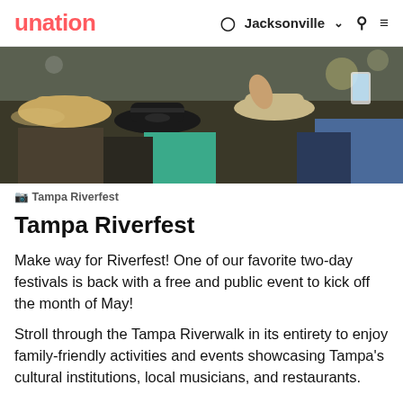unation | Jacksonville
[Figure (photo): Crowd of people from behind at a festival, wearing hats including straw hats and dark hats, outdoors in bright light]
📷 Tampa Riverfest
Tampa Riverfest
Make way for Riverfest! One of our favorite two-day festivals is back with a free and public event to kick off the month of May!
Stroll through the Tampa Riverwalk in its entirety to enjoy family-friendly activities and events showcasing Tampa's cultural institutions, local musicians, and restaurants.